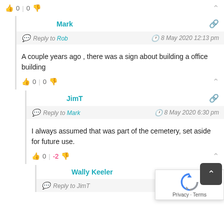0 | 0
Mark
Reply to Rob  —  8 May 2020 12:13 pm
A couple years ago , there was a sign about building a office building
0 | 0
JimT
Reply to Mark  —  8 May 2020 6:30 pm
I always assumed that was part of the cemetery, set aside for future use.
0 | -2
Wally Keeler
Reply to JimT  —  9 May 2020 1:22 am